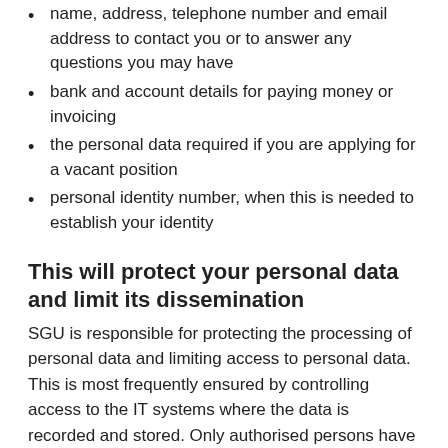name, address, telephone number and email address to contact you or to answer any questions you may have
bank and account details for paying money or invoicing
the personal data required if you are applying for a vacant position
personal identity number, when this is needed to establish your identity
This will protect your personal data and limit its dissemination
SGU is responsible for protecting the processing of personal data and limiting access to personal data. This is most frequently ensured by controlling access to the IT systems where the data is recorded and stored. Only authorised persons have access to the data. Sometimes the data is stored in specially protected areas.